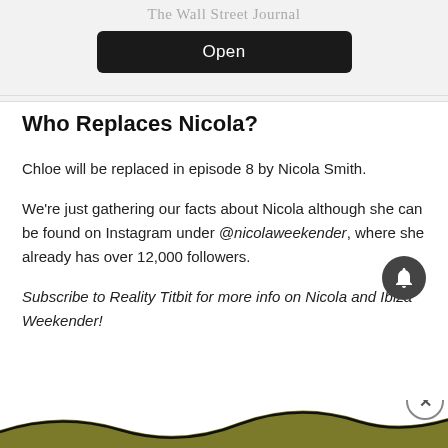[Figure (screenshot): App store UI element showing 'The Wall Street Journal' label and a dark 'Open' button on a light grey background]
Who Replaces Nicola?
Chloe will be replaced in episode 8 by Nicola Smith.
We're just gathering our facts about Nicola although she can be found on Instagram under @nicolaweekender, where she already has over 12,000 followers.
Subscribe to Reality Titbit for more info on Nicola and Ibiza Weekender!
[Figure (illustration): Wave-shaped olive/dark gold and black decorative footer banner at the bottom of the page, with a circular close (X) button on the right]